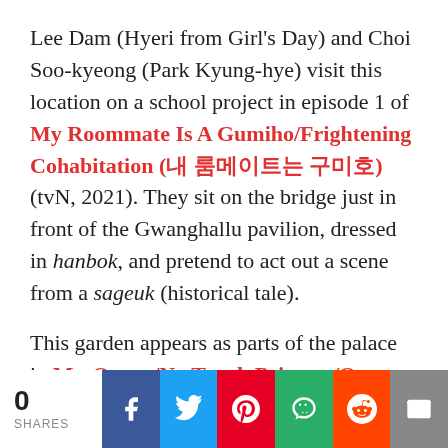Lee Dam (Hyeri from Girl's Day) and Choi Soo-kyeong (Park Kyung-hye) visit this location on a school project in episode 1 of My Roommate Is A Gumiho/Frightening Cohabitation (내 룸메이트는 구미호) (tvN, 2021). They sit on the bridge just in front of the Gwanghallu pavilion, dressed in hanbok, and pretend to act out a scene from a sageuk (historical tale).
This garden appears as parts of the palace in Mr. Queen/No Touch Princess/Queen Cheor'in (Cheorinwanghu/철인왕후) (tvN, 2020-21).
0 SHARES | Facebook | Twitter | Pinterest | WeChat | Reddit | Email